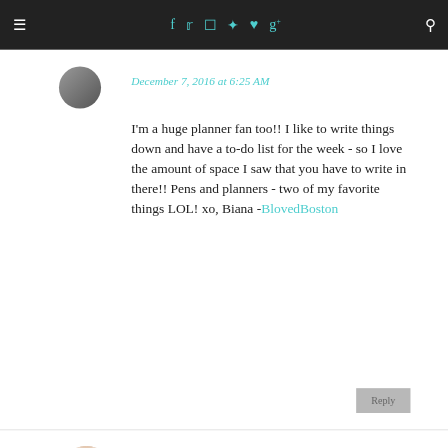Navigation bar with hamburger menu, social icons (f, twitter, instagram, pinterest, heart, g+), and search icon
December 7, 2016 at 6:25 AM
I'm a huge planner fan too!! I like to write things down and have a to-do list for the week - so I love the amount of space I saw that you have to write in there!! Pens and planners - two of my favorite things LOL! xo, Biana - BlovedBoston
Reply
JENN
December 7, 2016 at 6:29 AM